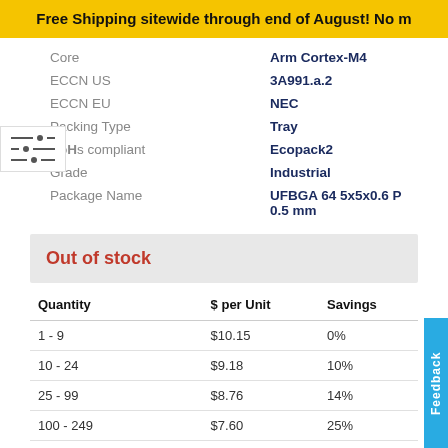Free Shipping sitewide through end of August! No m
|  |  |
| --- | --- |
| Core | Arm Cortex-M4 |
| ECCN US | 3A991.a.2 |
| ECCN EU | NEC |
| Packing Type | Tray |
| RoHs compliant | Ecopack2 |
| Grade | Industrial |
| Package Name | UFBGA 64 5x5x0.6 P 0.5 mm |
Out of stock
| Quantity | $ per Unit | Savings |
| --- | --- | --- |
| 1 - 9 | $10.15 | 0% |
| 10 - 24 | $9.18 | 10% |
| 25 - 99 | $8.76 | 14% |
| 100 - 249 | $7.60 | 25% |
| 250 - 499 | $7.26 | 28% |
| 500 | $6.62 | 35% |